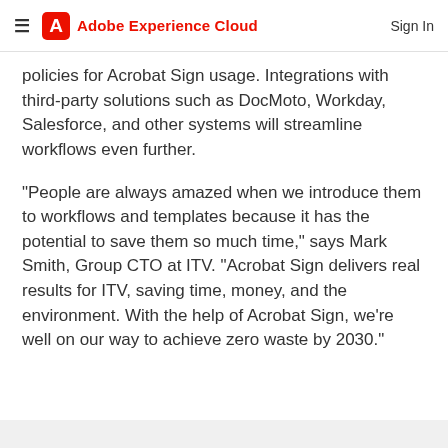Adobe Experience Cloud  Sign In
policies for Acrobat Sign usage. Integrations with third-party solutions such as DocMoto, Workday, Salesforce, and other systems will streamline workflows even further.
"People are always amazed when we introduce them to workflows and templates because it has the potential to save them so much time," says Mark Smith, Group CTO at ITV. "Acrobat Sign delivers real results for ITV, saving time, money, and the environment. With the help of Acrobat Sign, we're well on our way to achieve zero waste by 2030."